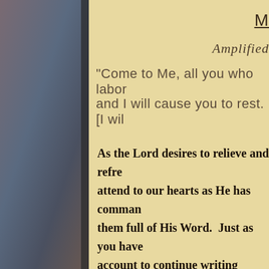M
Amplified
“Come to Me, all you who labor
and I will cause you to rest. [I wil
As the Lord desires to relieve and refre attend to our hearts as He has comman them full of His Word.  Just as you have account to continue writing checks, we the Spirit within our hearts and minds, yesterday, even though they do encour